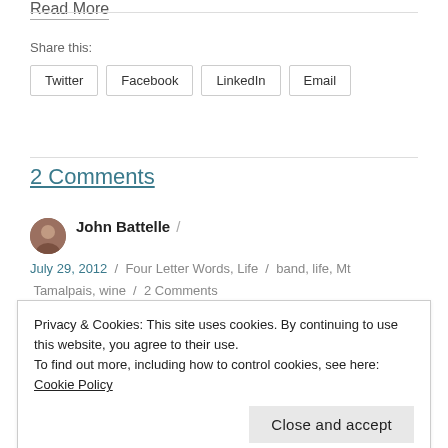Read More
Share this:
Twitter  Facebook  LinkedIn  Email
2 Comments
John Battelle /
July 29, 2012 / Four Letter Words, Life / band, life, Mt Tamalpais, wine / 2 Comments
Privacy & Cookies: This site uses cookies. By continuing to use this website, you agree to their use.
To find out more, including how to control cookies, see here: Cookie Policy
Close and accept